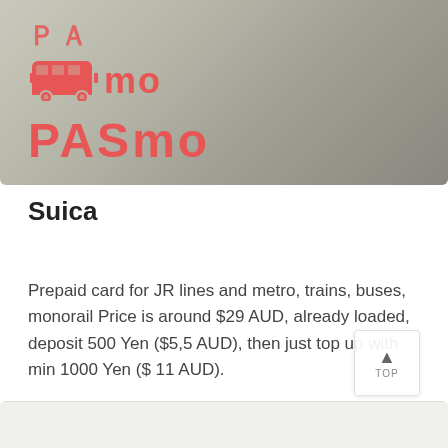[Figure (photo): PASMO transit card showing a bus icon, 'mo' text, and 'PASMO' logo in salmon/red on a metallic silver-grey card background.]
Suica
Prepaid card for JR lines and metro, trains, buses, monorail Price is around $29 AUD, already loaded, deposit 500 Yen ($5,5 AUD), then just top up with min 1000 Yen ($ 11 AUD).